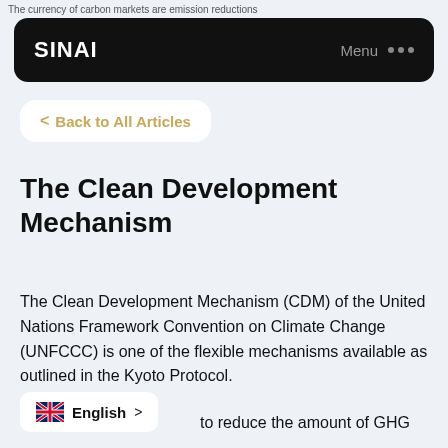The currency of carbon markets are emission reductions
[Figure (logo): SINAI navigation bar with black rounded rectangle background, SINAI logo in white on left, Menu text and three dots on right]
< Back to All Articles
The Clean Development Mechanism
The Clean Development Mechanism (CDM) of the United Nations Framework Convention on Climate Change (UNFCCC) is one of the flexible mechanisms available as outlined in the Kyoto Protocol.
English >
to reduce the amount of GHG